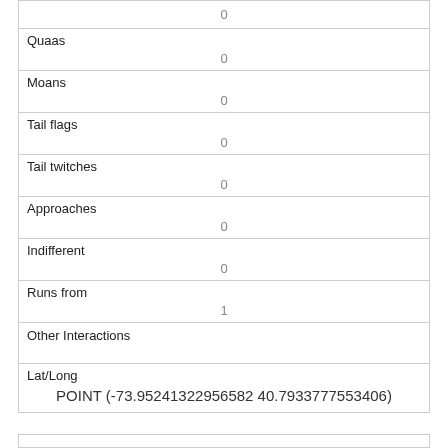|  | 0 |
| Quaas | 0 |
| Moans | 0 |
| Tail flags | 0 |
| Tail twitches | 0 |
| Approaches | 0 |
| Indifferent | 0 |
| Runs from | 1 |
| Other Interactions |  |
| Lat/Long | POINT (-73.95241322956582 40.7933777553406) |